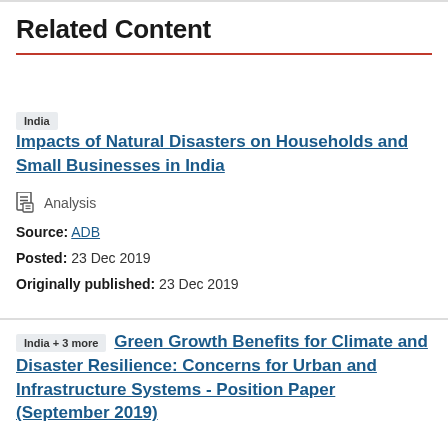Related Content
India   Impacts of Natural Disasters on Households and Small Businesses in India
Analysis
Source: ADB
Posted: 23 Dec 2019
Originally published: 23 Dec 2019
India + 3 more   Green Growth Benefits for Climate and Disaster Resilience: Concerns for Urban and Infrastructure Systems - Position Paper (September 2019)